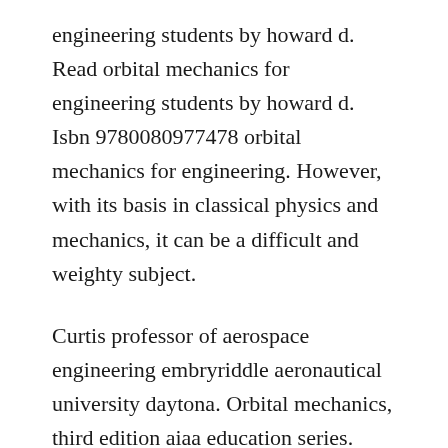engineering students by howard d. Read orbital mechanics for engineering students by howard d. Isbn 9780080977478 orbital mechanics for engineering. However, with its basis in classical physics and mechanics, it can be a difficult and weighty subject.
Curtis professor of aerospace engineering embryriddle aeronautical university daytona. Orbital mechanics, third edition aiaa education series. White, published by dover publications, new york, 1971. Orbital mechanics for engineering students wikipedia.